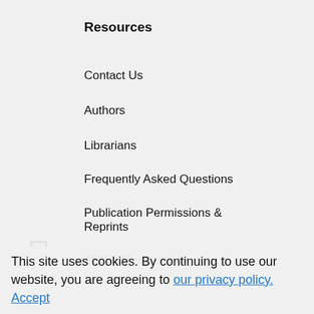Resources
Contact Us
Authors
Librarians
Frequently Asked Questions
Publication Permissions & Reprints
ASME Membership
Opportunities
Faculty Positions
[Figure (logo): American Society of Mechanical Engineers Logo (faint watermark)]
This site uses cookies. By continuing to use our website, you are agreeing to our privacy policy. Accept